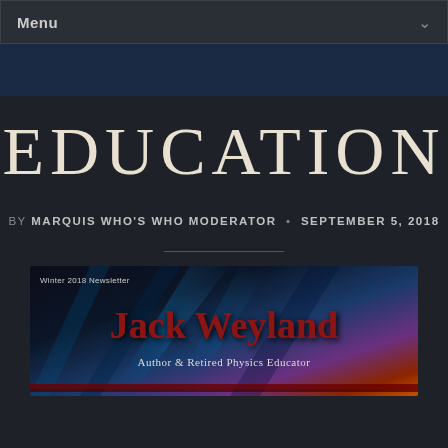Menu
Education
by MARQUIS WHO'S WHO MODERATOR • SEPTEMBER 5, 2018
[Figure (illustration): Newsletter banner image for Jack Weyland with glowing blue/orange light ray background. Text reads 'Winter 2018 Newsletter', 'Jack Weyland', 'Author & Retired Physics Educator']